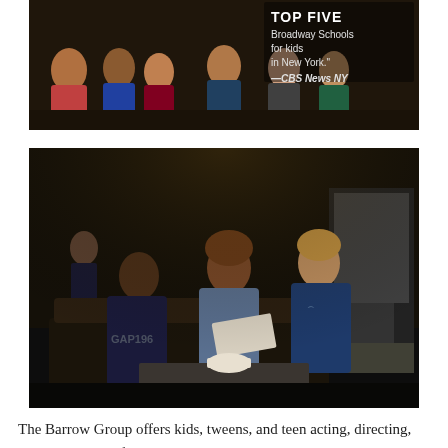[Figure (photo): Children audience members sitting in theater seats, laughing and smiling. Overlay text reads 'TOP FIVE Broadway Schools for kids in New York.' —CBS News NY]
[Figure (photo): Three boys sitting on a couch or stage area in a black box theater. One boy holds papers, appearing to rehearse or read a script. A white bowl sits on a low table in front of them.]
The Barrow Group offers kids, tweens, and teen acting, directing, playwriting, and filmmaking classes. We believe that children learn the most in an